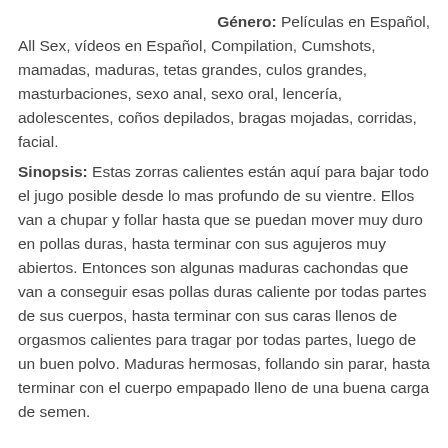Género: Películas en Español, All Sex, vídeos en Español, Compilation, Cumshots, mamadas, maduras, tetas grandes, culos grandes, masturbaciones, sexo anal, sexo oral, lencería, adolescentes, coños depilados, bragas mojadas, corridas, facial.
Sinopsis: Estas zorras calientes están aquí para bajar todo el jugo posible desde lo mas profundo de su vientre. Ellos van a chupar y follar hasta que se puedan mover muy duro en pollas duras, hasta terminar con sus agujeros muy abiertos. Entonces son algunas maduras cachondas que van a conseguir esas pollas duras caliente por todas partes de sus cuerpos, hasta terminar con sus caras llenos de orgasmos calientes para tragar por todas partes, luego de un buen polvo. Maduras hermosas, follando sin parar, hasta terminar con el cuerpo empapado lleno de una buena carga de semen.